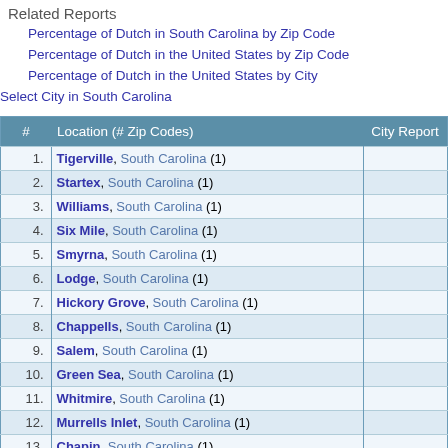Related Reports
Percentage of Dutch in South Carolina by Zip Code
Percentage of Dutch in the United States by Zip Code
Percentage of Dutch in the United States by City
Select City in South Carolina
| # | Location (# Zip Codes) | City Report |
| --- | --- | --- |
| 1. | Tigerville, South Carolina (1) |  |
| 2. | Startex, South Carolina (1) |  |
| 3. | Williams, South Carolina (1) |  |
| 4. | Six Mile, South Carolina (1) |  |
| 5. | Smyrna, South Carolina (1) |  |
| 6. | Lodge, South Carolina (1) |  |
| 7. | Hickory Grove, South Carolina (1) |  |
| 8. | Chappells, South Carolina (1) |  |
| 9. | Salem, South Carolina (1) |  |
| 10. | Green Sea, South Carolina (1) |  |
| 11. | Whitmire, South Carolina (1) |  |
| 12. | Murrells Inlet, South Carolina (1) |  |
| 13. | Chapin, South Carolina (1) |  |
| 14. | Cope, South Carolina (1) |  |
| 15. | Westville, South Carolina (1) |  |
| 16. | Lydia, South Carolina (1) |  |
| 17. | Gilbert, South Carolina (1) |  |
| 18. | Cleveland, South Carolina (1) |  |